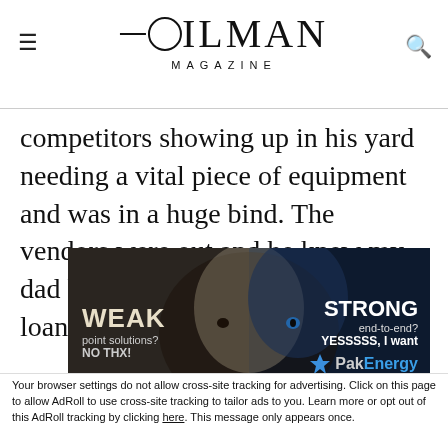OILMAN MAGAZINE
competitors showing up in his yard needing a vital piece of equipment and was in a huge bind. The vendors were out and he knew my dad had an extra piece and my dad loaned
[Figure (photo): Advertisement banner showing a split image of a white rabbit (left, labeled WEAK point solutions? NO THX!) and a blue-tinted wolf (right, labeled STRONG end-to-end? YESSSSS, I want) with PakEnergy logo]
Your browser settings do not allow cross-site tracking for advertising. Click on this page to allow AdRoll to use cross-site tracking to tailor ads to you. Learn more or opt out of this AdRoll tracking by clicking here. This message only appears once.